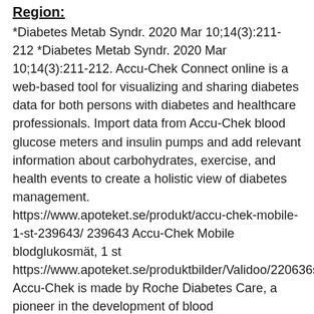Region:
*Diabetes Metab Syndr. 2020 Mar 10;14(3):211-212 *Diabetes Metab Syndr. 2020 Mar 10;14(3):211-212. Accu-Chek Connect online is a web-based tool for visualizing and sharing diabetes data for both persons with diabetes and healthcare professionals. Import data from Accu-Chek blood glucose meters and insulin pumps and add relevant information about carbohydrates, exercise, and health events to create a holistic view of diabetes management. https://www.apoteket.se/produkt/accu-chek-mobile-1-st-239643/ 239643 Accu-Chek Mobile blodglukosmät, 1 st https://www.apoteket.se/produktbilder/Validoo/220636s.jpg Accu-Chek is made by Roche Diabetes Care, a pioneer in the development of blood